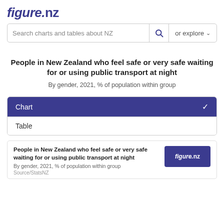figure.nz
Search charts and tables about NZ  or explore
People in New Zealand who feel safe or very safe waiting for or using public transport at night
By gender, 2021, % of population within group
Chart ✓
Table
[Figure (screenshot): Preview card showing figure.nz logo and chart title: People in New Zealand who feel safe or very safe waiting for or using public transport at night, By gender, 2021, % of population within group, Source/StatsNZ]